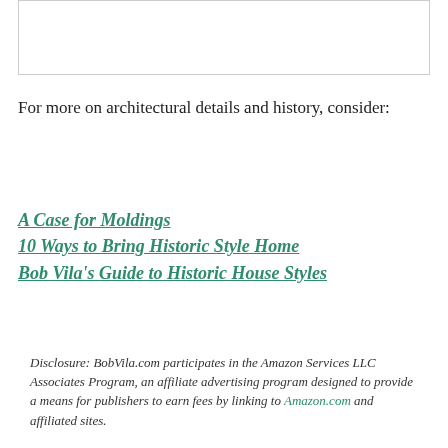[Figure (other): Image placeholder at top of page]
For more on architectural details and history, consider:
A Case for Moldings
10 Ways to Bring Historic Style Home
Bob Vila's Guide to Historic House Styles
Disclosure: BobVila.com participates in the Amazon Services LLC Associates Program, an affiliate advertising program designed to provide a means for publishers to earn fees by linking to Amazon.com and affiliated sites.